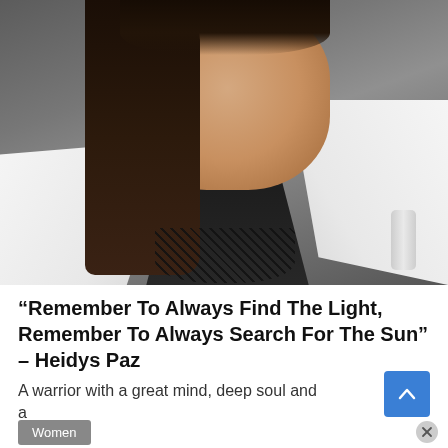[Figure (photo): Portrait photo of a woman with long dark hair, striking blue-green eyes, wearing a white blazer over a black lace top, seated in a dark chair, looking directly at camera]
“Remember To Always Find The Light, Remember To Always Search For The Sun” – Heidys Paz
A warrior with a great mind, deep soul and a
Women